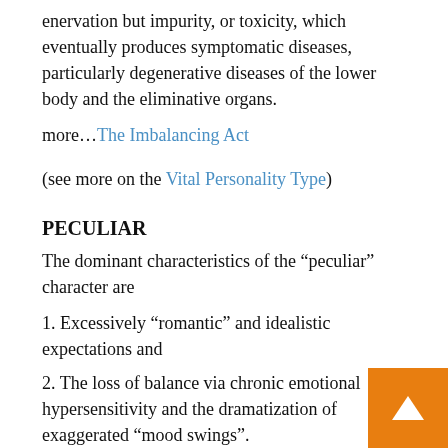enervation but impurity, or toxicity, which eventually produces symptomatic diseases, particularly degenerative diseases of the lower body and the eliminative organs.
more…The Imbalancing Act
(see more on the Vital Personality Type)
PECULIAR
The dominant characteristics of the “peculiar” character are
1. Excessively “romantic” and idealistic expectations and
2. The loss of balance via chronic emotional hypersensitivity and the dramatization of exaggerated “mood swings”.
The “peculiar” character is also associated with